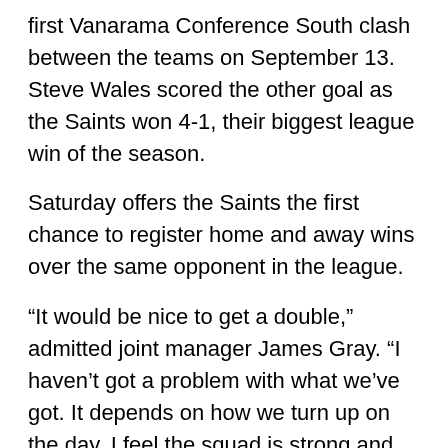first Vanarama Conference South clash between the teams on September 13. Steve Wales scored the other goal as the Saints won 4-1, their biggest league win of the season.
Saturday offers the Saints the first chance to register home and away wins over the same opponent in the league.
“It would be nice to get a double,” admitted joint manager James Gray. “I haven’t got a problem with what we’ve got. It depends on how we turn up on the day. I feel the squad is strong and when we work like we did [against Concord Rangers] then our ability will always come through.
“If we can work as we did [against Concord] and Gosport Borough then there are not many side who have the quality we do. But it’s difficult to get the boys to the consistency that it needs to reach and the b…